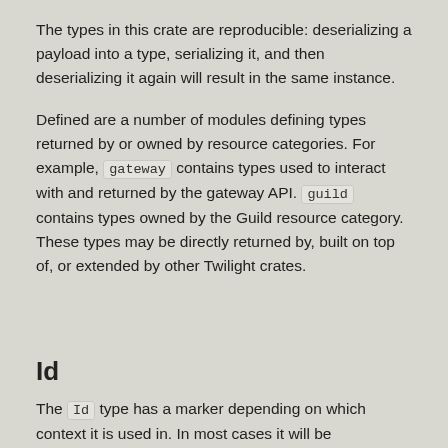The types in this crate are reproducible: deserializing a payload into a type, serializing it, and then deserializing it again will result in the same instance.
Defined are a number of modules defining types returned by or owned by resource categories. For example, gateway contains types used to interact with and returned by the gateway API. guild contains types owned by the Guild resource category. These types may be directly returned by, built on top of, or extended by other Twilight crates.
Id
The Id type has a marker depending on which context it is used in. In most cases it will be